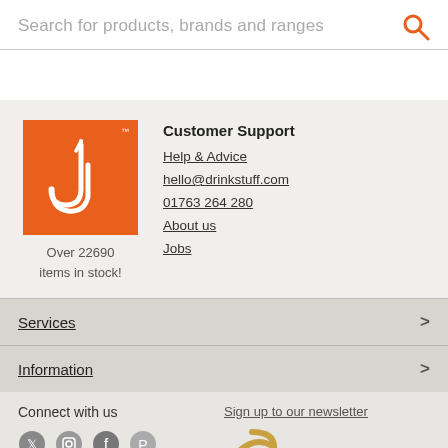Search for products, brands and ranges
[Figure (logo): Drinkstuff logo: orange square with white U-shape/hook icon and TM mark, with text 'Over 22690 items in stock!' below]
Customer Support
Help & Advice
hello@drinkstuff.com
01763 264 280
About us
Jobs
Services
Information
Connect with us
Sign up to our newsletter